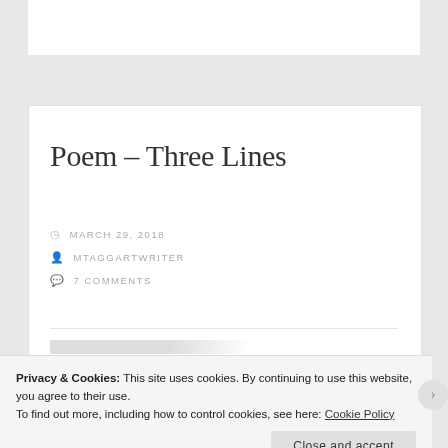Poem – Three Lines
MARCH 29, 2018
MTAGGARTWRITER
7 COMMENTS
Privacy & Cookies: This site uses cookies. By continuing to use this website, you agree to their use.
To find out more, including how to control cookies, see here: Cookie Policy
Close and accept